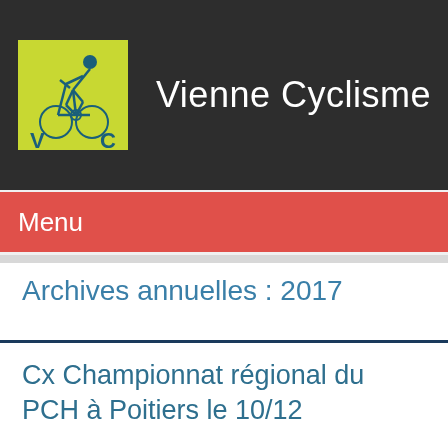[Figure (logo): Vienne Cyclisme logo: yellow-green square with a cyclist line drawing in teal and 'V C' letters]
Vienne Cyclisme
Menu
Archives annuelles : 2017
Cx Championnat régional du PCH à Poitiers le 10/12